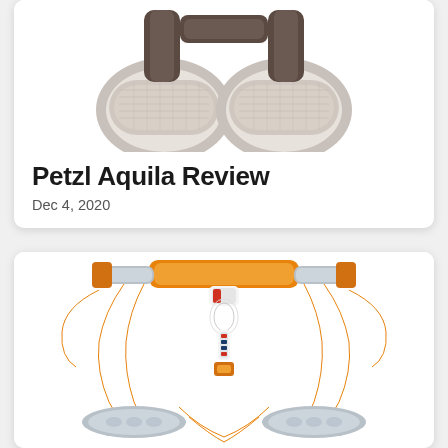[Figure (photo): Top portion of a dark gray/brown climbing harness (Petzl Aquila) viewed from above, showing the leg loops and waist belt with mesh material, on a white background. Image is cropped at the top.]
Petzl Aquila Review
Dec 4, 2020
[Figure (photo): Orange and white climbing harness (Petzl) shown from the front, with orange webbing leg loops, gray foam padding on waist belt and leg loops, and orange buckles and gear loops. Full harness visible on white background.]